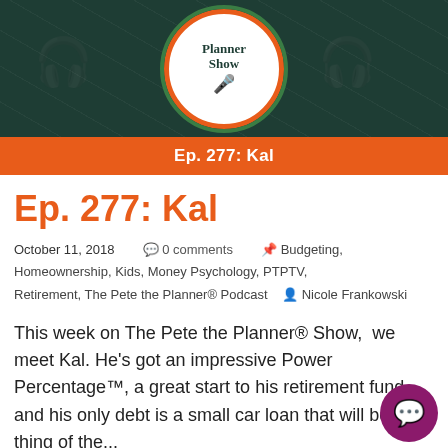[Figure (logo): Pete the Planner Show podcast logo: circular white logo with dark green background, orange and green border rings, microphone icon, text 'Planner Show' with episode banner 'Ep. 277: Kal' in orange bar below]
Ep. 277: Kal
October 11, 2018    0 comments    Budgeting, Homeownership, Kids, Money Psychology, PTPTV, Retirement, The Pete the Planner® Podcast    Nicole Frankowski
This week on The Pete the Planner® Show,  we meet Kal. He's got an impressive Power Percentage™, a great start to his retirement fund and his only debt is a small car loan that will be a thing of the...